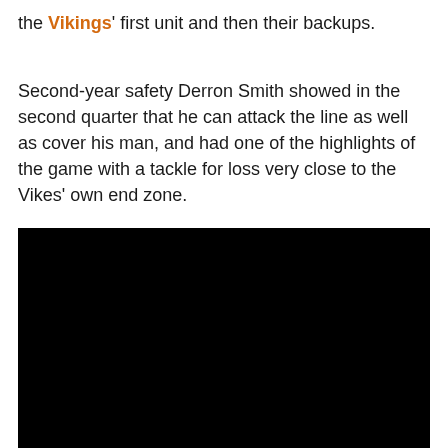the Vikings' first unit and then their backups.
Second-year safety Derron Smith showed in the second quarter that he can attack the line as well as cover his man, and had one of the highlights of the game with a tackle for loss very close to the Vikes' own end zone.
[Figure (photo): A black rectangular image, likely a video embed or photo that has not loaded, occupying the lower portion of the page.]